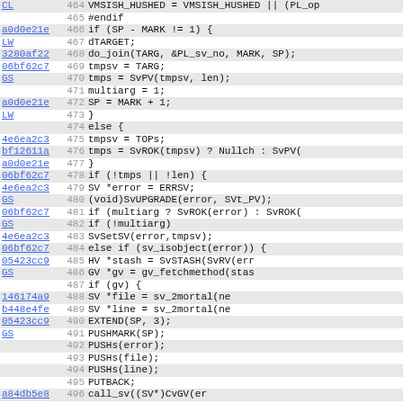[Figure (screenshot): Source code viewer showing lines 464-495 of a C/Perl source file with memory addresses, line numbers, and code content including vmsish handling, string joining, error handling, and object inspection logic.]